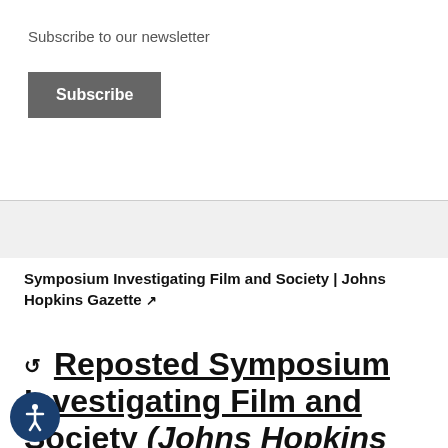Subscribe to our newsletter
Subscribe
Symposium Investigating Film and Society | Johns Hopkins Gazette ↗
↺ Reposted Symposium Investigating Film and Society (Johns Hopkins Gazette)